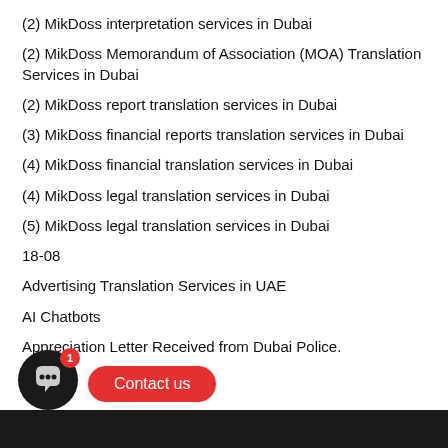(2) MikDoss interpretation services in Dubai
(2) MikDoss Memorandum of Association (MOA) Translation Services in Dubai
(2) MikDoss report translation services in Dubai
(3) MikDoss financial reports translation services in Dubai
(4) MikDoss financial translation services in Dubai
(4) MikDoss legal translation services in Dubai
(5) MikDoss legal translation services in Dubai
18-08
Advertising Translation Services in UAE
AI Chatbots
Appreciation Letter Received from Dubai Police.
A…an